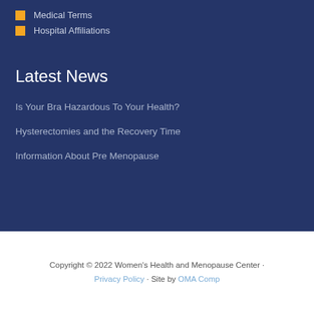Medical Terms
Hospital Affiliations
Latest News
Is Your Bra Hazardous To Your Health?
Hysterectomies and the Recovery Time
Information About Pre Menopause
Copyright © 2022 Women's Health and Menopause Center · Privacy Policy · Site by OMA Comp